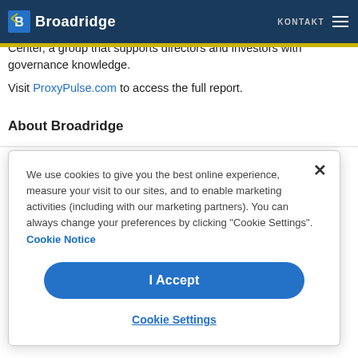Broadridge | KONTAKT
ProxyPulse is a research project between Broadridge, a provider communications solutions and AWC's Governance Insights Center, a group that supports directors and investors with governance knowledge.
Visit ProxyPulse.com to access the full report.
About Broadridge
We use cookies to give you the best online experience, measure your visit to our sites, and to enable marketing activities (including with our marketing partners). You can always change your preferences by clicking "Cookie Settings". Cookie Notice
I Accept
Cookie Settings